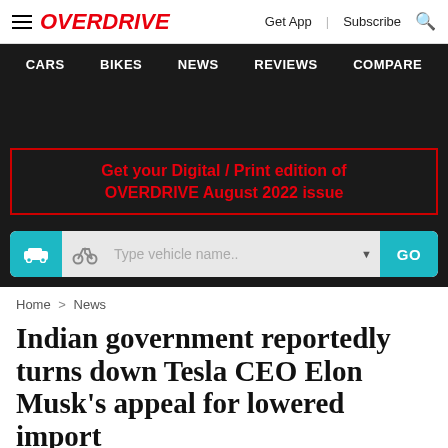OVERDRIVE | Get App | Subscribe
CARS | BIKES | NEWS | REVIEWS | COMPARE
Get your Digital / Print edition of OVERDRIVE August 2022 issue
Type vehicle name..  GO
Home > News
Indian government reportedly turns down Tesla CEO Elon Musk's appeal for lowered import